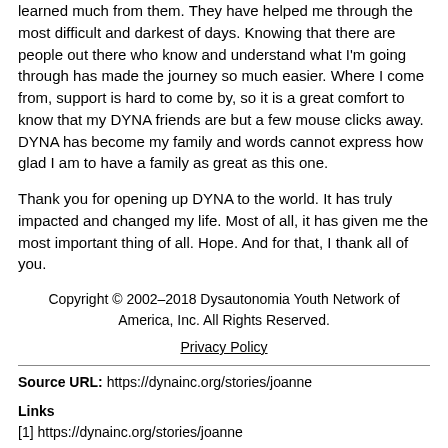learned much from them. They have helped me through the most difficult and darkest of days. Knowing that there are people out there who know and understand what I'm going through has made the journey so much easier. Where I come from, support is hard to come by, so it is a great comfort to know that my DYNA friends are but a few mouse clicks away. DYNA has become my family and words cannot express how glad I am to have a family as great as this one.
Thank you for opening up DYNA to the world. It has truly impacted and changed my life. Most of all, it has given me the most important thing of all. Hope. And for that, I thank all of you.
Copyright © 2002–2018 Dysautonomia Youth Network of America, Inc. All Rights Reserved.
Privacy Policy
Source URL: https://dynainc.org/stories/joanne

Links
[1] https://dynainc.org/stories/joanne